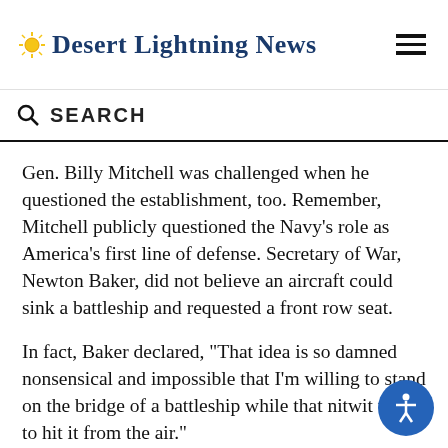Desert Lightning News
SEARCH
Gen. Billy Mitchell was challenged when he questioned the establishment, too. Remember, Mitchell publicly questioned the Navy's role as America's first line of defense. Secretary of War, Newton Baker, did not believe an aircraft could sink a battleship and requested a front row seat.
In fact, Baker declared, "That idea is so damned nonsensical and impossible that I'm willing to stand on the bridge of a battleship while that nitwit tries to hit it from the air."
To the consternation of the Navy and many ot… Mitchell's publicity stunt worked. His bombers sank